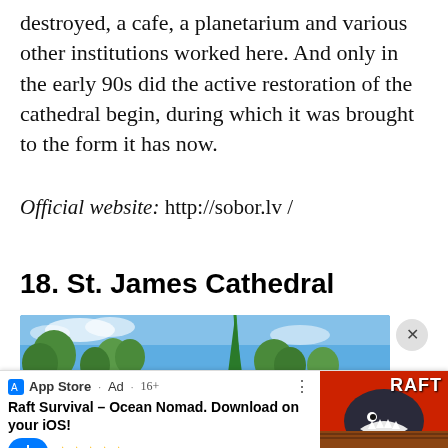destroyed, a cafe, a planetarium and various other institutions worked here. And only in the early 90s did the active restoration of the cathedral begin, during which it was brought to the form it has now.
Official website: http://sobor.lv /
18. St. James Cathedral
[Figure (photo): Photo of St. James Cathedral showing a spire against a blue sky with trees]
[Figure (screenshot): App Store advertisement for Raft Survival – Ocean Nomad. Download on your iOS! with 5-star rating and Free label, showing shark image on right side]